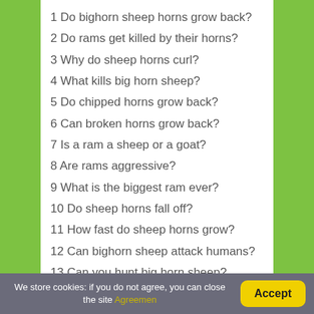1 Do bighorn sheep horns grow back?
2 Do rams get killed by their horns?
3 Why do sheep horns curl?
4 What kills big horn sheep?
5 Do chipped horns grow back?
6 Can broken horns grow back?
7 Is a ram a sheep or a goat?
8 Are rams aggressive?
9 What is the biggest ram ever?
10 Do sheep horns fall off?
11 How fast do sheep horns grow?
12 Can bighorn sheep attack humans?
13 Can you hunt big horn sheep?
14 What is a sheep with horns called?
We store cookies: if you do not agree, you can close the site Agreement